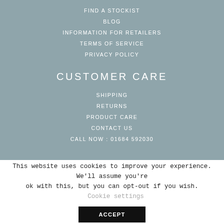FIND A STOCKIST
BLOG
INFORMATION FOR RETAILERS
TERMS OF SERVICE
PRIVACY POLICY
CUSTOMER CARE
SHIPPING
RETURNS
PRODUCT CARE
CONTACT US
CALL NOW : 01684 592030
This website uses cookies to improve your experience. We'll assume you're ok with this, but you can opt-out if you wish.
Cookie settings
ACCEPT